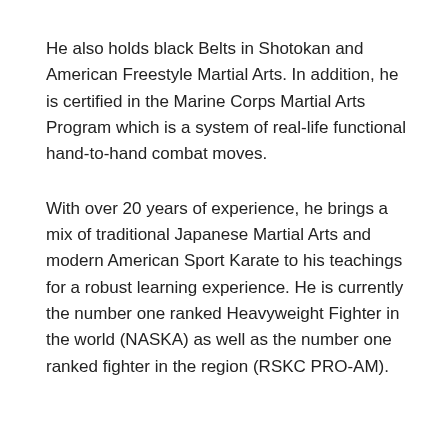He also holds black Belts in Shotokan and American Freestyle Martial Arts. In addition, he is certified in the Marine Corps Martial Arts Program which is a system of real-life functional hand-to-hand combat moves.
With over 20 years of experience, he brings a mix of traditional Japanese Martial Arts and modern American Sport Karate to his teachings for a robust learning experience. He is currently the number one ranked Heavyweight Fighter in the world (NASKA) as well as the number one ranked fighter in the region (RSKC PRO-AM).